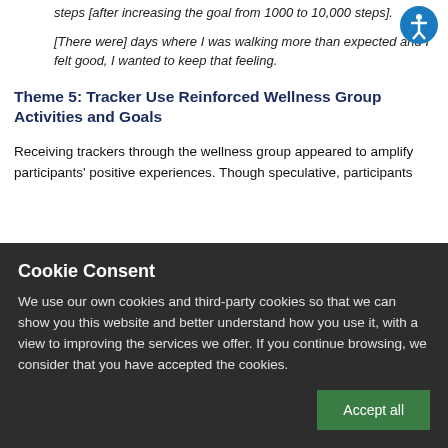steps [after increasing the goal from 1000 to 10,000 steps].
[There were] days where I was walking more than expected and I felt good, I wanted to keep that feeling.
Theme 5: Tracker Use Reinforced Wellness Group Activities and Goals
Receiving trackers through the wellness group appeared to amplify participants' positive experiences. Though speculative, participants ...
Cookie Consent

We use our own cookies and third-party cookies so that we can show you this website and better understand how you use it, with a view to improving the services we offer. If you continue browsing, we consider that you have accepted the cookies.